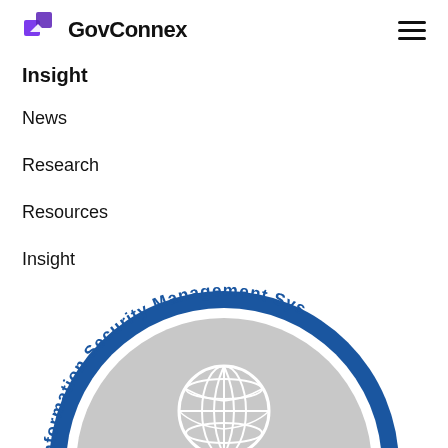GovConnex
Insight
News
Research
Resources
Insight
[Figure (logo): ISO Information Security Management System certification seal — circular badge with blue border, grey inner circle, globe icon, and curved text reading 'Information Security Management Sys...' (partially cropped)]